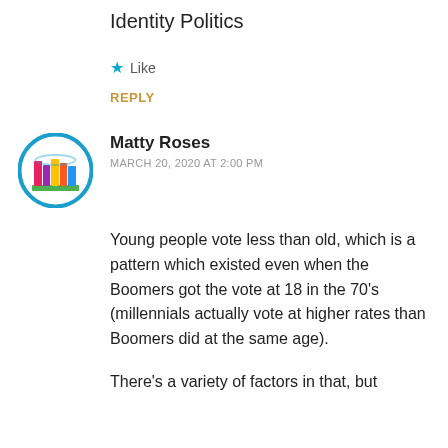Identity Politics
Like
REPLY
[Figure (logo): Circular avatar icon with colorful books illustration on blue and white background]
Matty Roses
MARCH 20, 2020 AT 2:00 PM
Young people vote less than old, which is a pattern which existed even when the Boomers got the vote at 18 in the 70's (millennials actually vote at higher rates than Boomers did at the same age).
There's a variety of factors in that, but